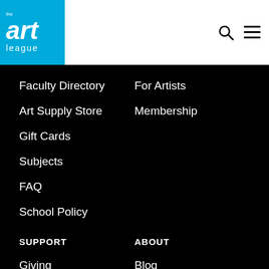[Figure (logo): The Art League logo: blue square with white italic 'art' text and 'league' below]
Faculty Directory
For Artists
Art Supply Store
Membership
Gift Cards
Subjects
FAQ
School Policy
SUPPORT
ABOUT
Giving
Blog
Outreach
Events
Volunteer
Location & Hours
Donate
Contact Us